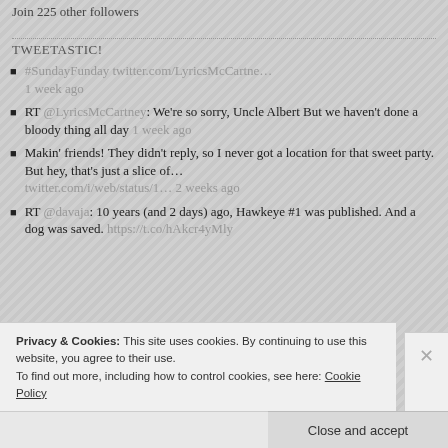Join 225 other followers
TWEETASTIC!
#SundayFunday twitter.com/LyricsMcCartne... 1 week ago
RT @LyricsMcCartney: We're so sorry, Uncle Albert But we haven't done a bloody thing all day 1 week ago
Makin' friends! They didn't reply, so I never got a location for that sweet party. But hey, that's just a slice of... twitter.com/i/web/status/1... 2 weeks ago
RT @davaja: 10 years (and 2 days) ago, Hawkeye #1 was published. And a dog was saved. https://t.co/hAkcr4yMly
Privacy & Cookies: This site uses cookies. By continuing to use this website, you agree to their use.
To find out more, including how to control cookies, see here: Cookie Policy
Close and accept